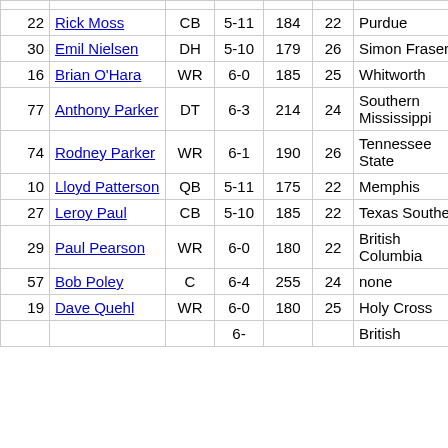| # | Name | Pos | Ht | Wt | Age | College | GP |  |
| --- | --- | --- | --- | --- | --- | --- | --- | --- |
| 22 | Rick Moss | CB | 5-11 | 184 | 22 | Purdue | 5 |  |
| 30 | Emil Nielsen | DH | 5-10 | 179 | 26 | Simon Fraser | 16 |  |
| 16 | Brian O'Hara | WR | 6-0 | 185 | 25 | Whitworth | 16 |  |
| 77 | Anthony Parker | DT | 6-3 | 214 | 24 | Southern Mississippi | 9 |  |
| 74 | Rodney Parker | WR | 6-1 | 190 | 26 | Tennessee State | 5 |  |
| 10 | Lloyd Patterson | QB | 5-11 | 175 | 22 | Memphis | 9 |  |
| 27 | Leroy Paul | CB | 5-10 | 185 | 22 | Texas Southern | 10 |  |
| 29 | Paul Pearson | WR | 6-0 | 180 | 22 | British Columbia | 2 |  |
| 57 | Bob Poley | C | 6-4 | 255 | 24 | none | 16 |  |
| 19 | Dave Quehl | WR | 6-0 | 180 | 25 | Holy Cross | 3 |  |
|  |  |  | 6- |  |  | British |  |  |